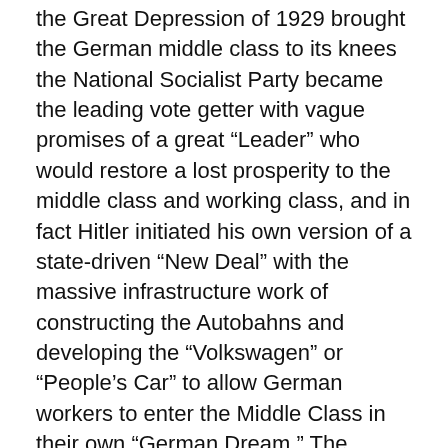the Great Depression of 1929 brought the German middle class to its knees the National Socialist Party became the leading vote getter with vague promises of a great “Leader” who would restore a lost prosperity to the middle class and working class, and in fact Hitler initiated his own version of a state-driven “New Deal” with the massive infrastructure work of constructing the Autobahns and developing the “Volkswagen” or “People’s Car” to allow German workers to enter the Middle Class in their own “German Dream.” The American middle class has found itself on its knees since the Bush Great Recession of 2008 and despite a decade of slow recovery which has affixed a “band-aid” semi-recovery on some of the wounds, the middle and working class know that their full past condition with decent jobs with security and benefits, let alone their aspirations for the future and for their children have not been restored and are unlikely to be restored without...